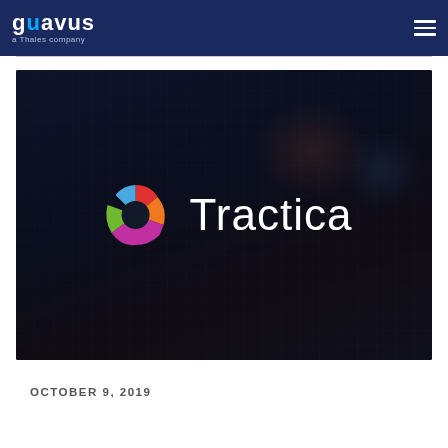guavus a Thales company
[Figure (logo): Tractica logo on dark tech background — colorful pinwheel icon with segments in red, blue, orange, green, and purple/magenta, next to white text 'Tractica']
OCTOBER 9, 2019